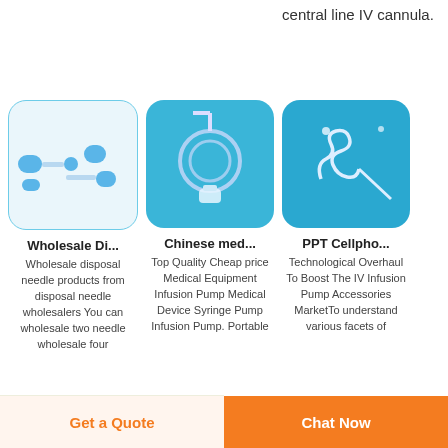central line IV cannula.
[Figure (photo): Wholesale disposal needle products - blue plastic caps/needles on white background]
[Figure (photo): Chinese medical infusion pump equipment - tubing coiled on blue background]
[Figure (photo): PPT Cellphone IV infusion pump accessories - coiled spring mechanism on blue background]
Wholesale Di...
Wholesale disposal needle products from disposal needle wholesalers You can wholesale two needle wholesale four
Chinese med...
Top Quality Cheap price Medical Equipment Infusion Pump Medical Device Syringe Pump Infusion Pump. Portable
PPT Cellpho...
Technological Overhaul To Boost The IV Infusion Pump Accessories MarketTo understand various facets of
Get a Quote
Chat Now